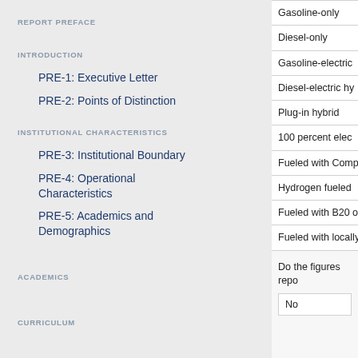REPORT PREFACE
INTRODUCTION
PRE-1: Executive Letter
PRE-2: Points of Distinction
INSTITUTIONAL CHARACTERISTICS
PRE-3: Institutional Boundary
PRE-4: Operational Characteristics
PRE-5: Academics and Demographics
ACADEMICS
CURRICULUM
| Gasoline-only |
| Diesel-only |
| Gasoline-electric |
| Diesel-electric hy |
| Plug-in hybrid |
| 100 percent elec |
| Fueled with Comp |
| Hydrogen fueled |
| Fueled with B20 o |
| Fueled with locally |
Do the figures repo
No